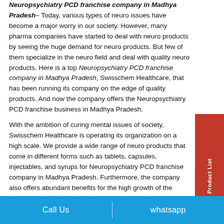Neuropsychiatry PCD franchise company in Madhya Pradesh– Today, various types of neuro issues have become a major worry in our society. However, many pharma companies have started to deal with neuro products by seeing the huge demand for neuro products. But few of them specialize in the neuro field and deal with quality neuro products. Here is a top Neuropsychiatry PCD franchise company in Madhya Pradesh, Swisschem Healthcare, that has been running its company on the edge of quality products. And now the company offers the Neuropsychiatry PCD franchise business in Madhya Pradesh.
With the ambition of curing mental issues of society, Swisschem Healthcare is operating its organization on a high scale. We provide a wide range of neuro products that come in different forms such as tablets, capsules, injectables, and syrups for Neuropsychiatry PCD franchise company in Madhya Pradesh. Furthermore, the company also offers abundant benefits for the high growth of the neuro franchise business in Madhya Pradesh. These include monopoly rights, promotional tools, visual aid, incentives, and many more.
[Figure (other): Red vertical sidebar tab with text 'Download Product List' written vertically and a right-arrow icon]
Call Us | whatsapp